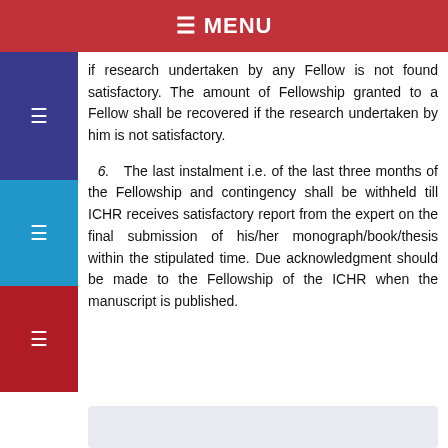☰ MENU
if research undertaken by any Fellow is not found satisfactory. The amount of Fellowship granted to a Fellow shall be recovered if the research undertaken by him is not satisfactory.
6.   The last instalment i.e. of the last three months of the Fellowship and contingency shall be withheld till ICHR receives satisfactory report from the expert on the final submission of his/her monograph/book/thesis within the stipulated time. Due acknowledgment should be made to the Fellowship of the ICHR when the manuscript is published.